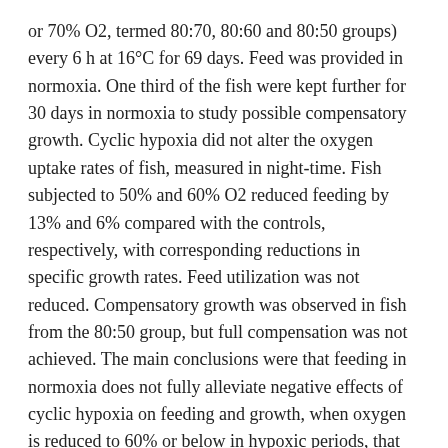or 70% O2, termed 80:70, 80:60 and 80:50 groups) every 6 h at 16°C for 69 days. Feed was provided in normoxia. One third of the fish were kept further for 30 days in normoxia to study possible compensatory growth. Cyclic hypoxia did not alter the oxygen uptake rates of fish, measured in night-time. Fish subjected to 50% and 60% O2 reduced feeding by 13% and 6% compared with the controls, respectively, with corresponding reductions in specific growth rates. Feed utilization was not reduced. Compensatory growth was observed in fish from the 80:50 group, but full compensation was not achieved. The main conclusions were that feeding in normoxia does not fully alleviate negative effects of cyclic hypoxia on feeding and growth, when oxygen is reduced to 60% or below in hypoxic periods, that feed utilization is maintained, and that compensatory growth may lessen negative effects.
Utgiver
John Wiley & Sons Ltd